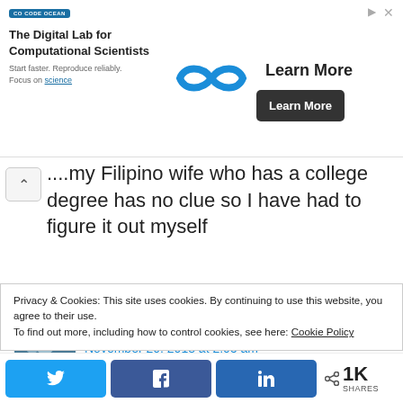[Figure (screenshot): Code Ocean advertisement banner with logo, infinity icon, 'Learn More' text and button]
....my Filipino wife who has a college degree has no clue so I have had to figure it out myself
Reply
Eduardo Maresca says:
November 20, 2018 at 2:05 am
Shorter version: "Kabit ang hawlang...
Privacy & Cookies: This site uses cookies. By continuing to use this website, you agree to their use.
To find out more, including how to control cookies, see here: Cookie Policy
[Figure (screenshot): Social share bar with Twitter, Facebook, LinkedIn buttons and 1K shares count]